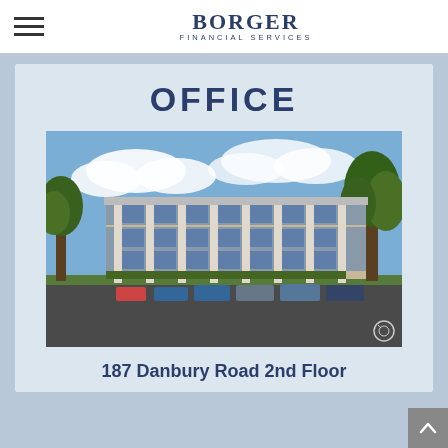BORGER FINANCIAL SERVICES
OFFICE
[Figure (photo): Exterior photograph of an office building at 187 Danbury Road 2nd Floor. A multi-story commercial building with glass facades and white columns, surrounded by trees and a parking lot with several cars, under a blue sky with clouds.]
187 Danbury Road 2nd Floor